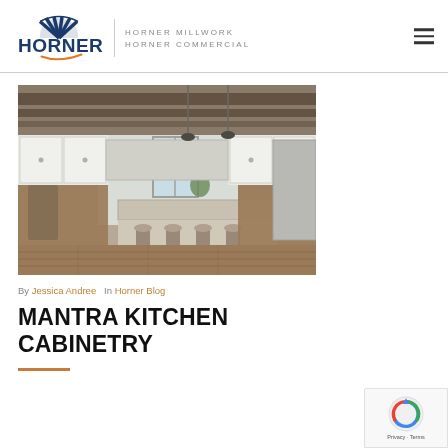HORNER MILLWORK HORNER COMMERCIAL
[Figure (photo): Kitchen interior with white cabinetry, island with bar stools, hardwood floors, pendant lights, and stainless steel appliances]
By Jessica Andree  In Horner Blog
MANTRA KITCHEN CABINETRY